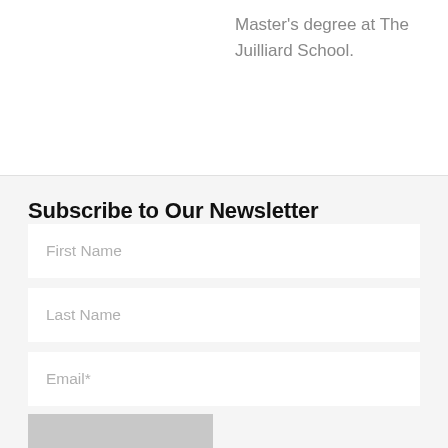Master's degree at The Juilliard School.
Subscribe to Our Newsletter
First Name
Last Name
Email*